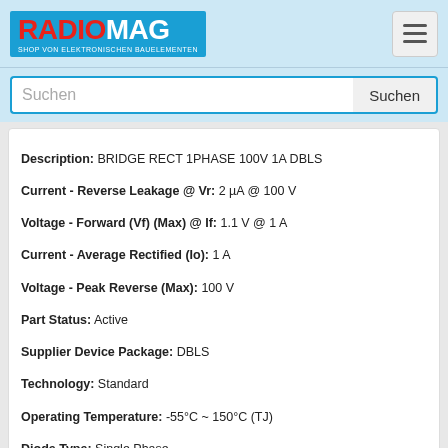RADIOMAG SHOP VON ELEKTRONISCHEN BAUELEMENTEN
Suchen
Description: BRIDGE RECT 1PHASE 100V 1A DBLS
Current - Reverse Leakage @ Vr: 2 µA @ 100 V
Voltage - Forward (Vf) (Max) @ If: 1.1 V @ 1 A
Current - Average Rectified (Io): 1 A
Voltage - Peak Reverse (Max): 100 V
Part Status: Active
Supplier Device Package: DBLS
Technology: Standard
Operating Temperature: -55°C ~ 150°C (TJ)
Diode Type: Single Phase
Mounting Type: Surface Mount
Package / Case: 4-SMD, Gull Wing
Packaging: Tube
Produkt ist nicht verfügbar, Sie können Anfrage senden wenn Sie Produkt in den Warenkorb hinzufügen
kaufen
DBLS103G C1G